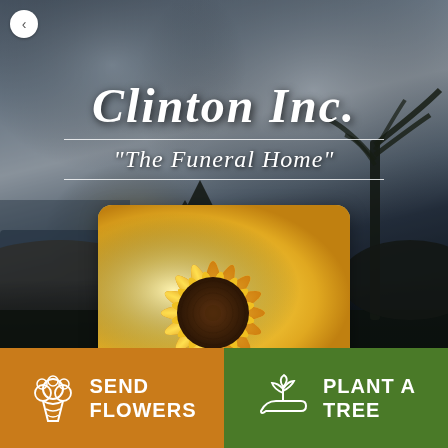[Figure (photo): Hero background showing a dramatic beach scene with cloudy sky, silhouetted mountains and palm tree on the right, and ocean on the left. Dark, moody atmospheric tones.]
Clinton Inc.
"The Funeral Home"
[Figure (photo): Close-up photograph of a bright yellow sunflower with golden petals and dark brown center, displayed in a rounded-corner card over the hero image.]
SEND FLOWERS
PLANT A TREE